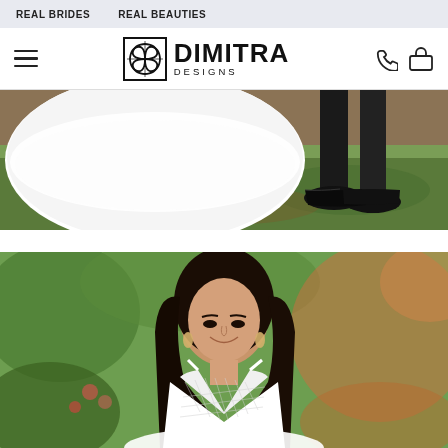REAL BRIDES   REAL BEAUTIES
[Figure (logo): Dimitra Designs logo with decorative square icon, hamburger menu, phone and bag icons]
[Figure (photo): Bottom of a white wedding ball gown and groom's black dress shoes standing on grass outdoors]
[Figure (photo): Young woman with long dark hair smiling, wearing a white spaghetti-strap v-neck wedding dress with sheer lattice bodice, standing outdoors with blurred green and pink foliage background]